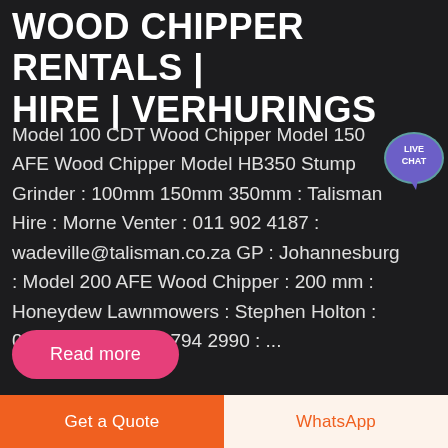WOOD CHIPPER RENTALS | HIRE | VERHURINGS
Model 100 CDT Wood Chipper Model 150 AFE Wood Chipper Model HB350 Stump Grinder : 100mm 150mm 350mm : Talisman Hire : Morne Venter : 011 902 4187 : wadeville@talisman.co.za GP : Johannesburg : Model 200 AFE Wood Chipper : 200 mm : Honeydew Lawnmowers : Stephen Holton : 065 739 3538 011 794 2990 : ...
[Figure (other): Live Chat speech bubble badge in purple/teal]
Read more
Get a Quote
WhatsApp